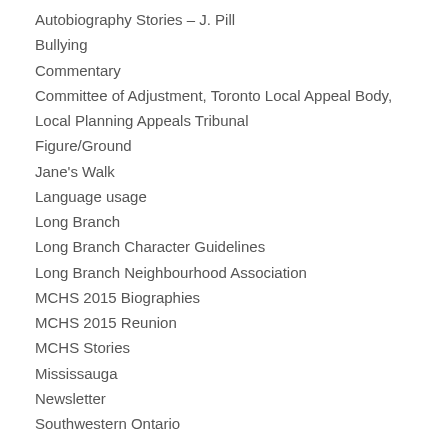Autobiography Stories – J. Pill
Bullying
Commentary
Committee of Adjustment, Toronto Local Appeal Body,
Local Planning Appeals Tribunal
Figure/Ground
Jane's Walk
Language usage
Long Branch
Long Branch Character Guidelines
Long Branch Neighbourhood Association
MCHS 2015 Biographies
MCHS 2015 Reunion
MCHS Stories
Mississauga
Newsletter
Southwestern Ontario